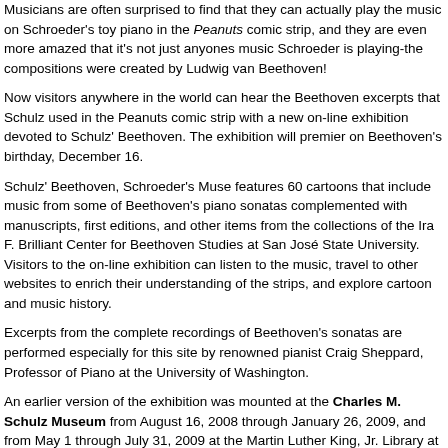Musicians are often surprised to find that they can actually play the music on Schroeder's toy piano in the Peanuts comic strip, and they are even more amazed that it's not just anyones music Schroeder is playing-the compositions were created by Ludwig van Beethoven!
Now visitors anywhere in the world can hear the Beethoven excerpts that Schulz used in the Peanuts comic strip with a new on-line exhibition devoted to Schulz' Beethoven. The exhibition will premier on Beethoven's birthday, December 16.
Schulz' Beethoven, Schroeder's Muse features 60 cartoons that include music from some of Beethoven's piano sonatas complemented with manuscripts, first editions, and other items from the collections of the Ira F. Brilliant Center for Beethoven Studies at San José State University. Visitors to the on-line exhibition can listen to the music, travel to other websites to enrich their understanding of the strips, and explore cartoon and music history.
Excerpts from the complete recordings of Beethoven's sonatas are performed especially for this site by renowned pianist Craig Sheppard, Professor of Piano at the University of Washington.
An earlier version of the exhibition was mounted at the Charles M. Schulz Museum from August 16, 2008 through January 26, 2009, and from May 1 through July 31, 2009 at the Martin Luther King, Jr. Library at San José State University. Both the on-line and physical exhibitions are joint projects of The Charles M. Schulz Museum and the Center for Beethoven Studies (San José, CA).
If you are part of the media and would like high resolution or web images for print, online, or broadcast, please contact Gina Huntsinger at (707) 284-1268.
Share this: